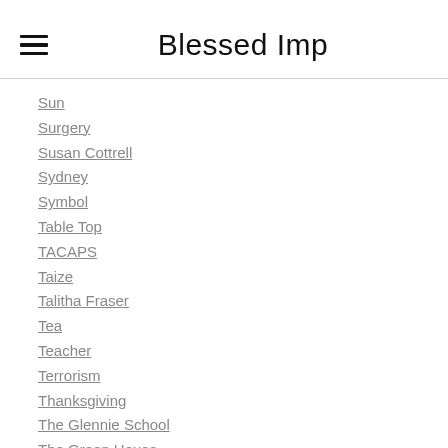Blessed Imp
Sun
Surgery
Susan Cottrell
Sydney
Symbol
Table Top
TACAPS
Taize
Talitha Fraser
Tea
Teacher
Terrorism
Thanksgiving
The Glennie School
The Green House
Theology
Thomas Berry
Thomas Merton
Toowoomba